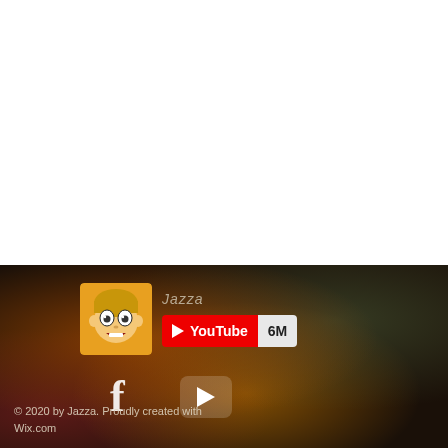[Figure (screenshot): Website footer screenshot from Jazza's website. Dark blurred background with warm red/orange tones. Shows channel avatar (cartoon face), Jazza channel name, YouTube badge with 6M subscribers, Facebook icon, YouTube play button icon, and copyright text.]
© 2020 by Jazza. Proudly created with Wix.com